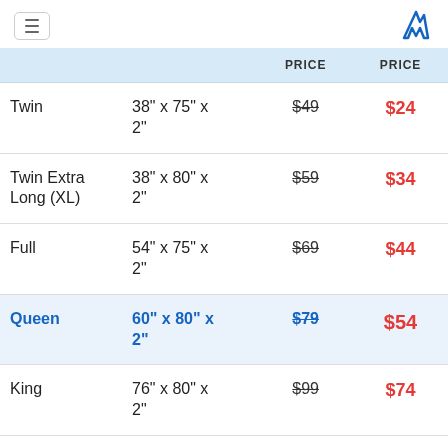Menu | M logo
|  |  | PRICE | PRICE |
| --- | --- | --- | --- |
| Twin | 38" x 75" x 2" | $49 | $24 |
| Twin Extra Long (XL) | 38" x 80" x 2" | $59 | $34 |
| Full | 54" x 75" x 2" | $69 | $44 |
| Queen | 60" x 80" x 2" | $79 | $54 |
| King | 76" x 80" x 2" | $99 | $74 |